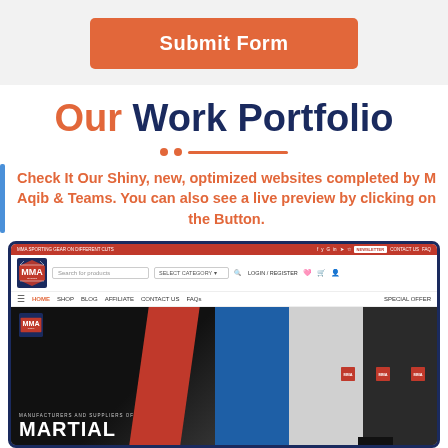[Figure (other): Orange rounded rectangle Submit Form button on light gray background]
Our Work Portfolio
[Figure (other): Decorative divider with two orange dots and an orange horizontal line]
Check It Our Shiny, new, optimized websites completed by M Aqib & Teams. You can also see a live preview by clicking on the Button.
[Figure (screenshot): Screenshot of MMA Sports e-commerce website showing red top bar, navigation with MMA logo, search bar, menu items (HOME, SHOP, BLOG, AFFILIATE, CONTACT US, FAQs, SPECIAL OFFER), and hero section with martial arts gi uniforms in blue, white, and black colors, with text MANUFACTURERS AND SUPPLIERS OF MARTIAL]